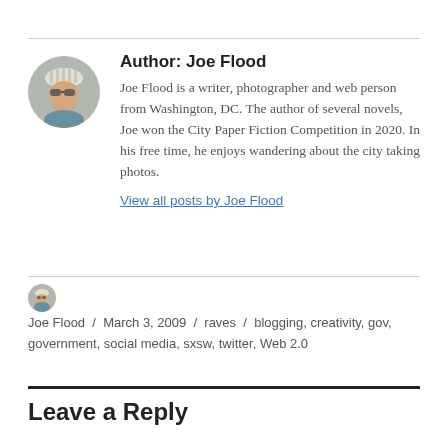[Figure (photo): Circular avatar photo of Joe Flood wearing a cycling helmet and sunglasses]
Author: Joe Flood
Joe Flood is a writer, photographer and web person from Washington, DC. The author of several novels, Joe won the City Paper Fiction Competition in 2020. In his free time, he enjoys wandering about the city taking photos.
View all posts by Joe Flood
Joe Flood / March 3, 2009 / raves / blogging, creativity, gov, government, social media, sxsw, twitter, Web 2.0
Leave a Reply